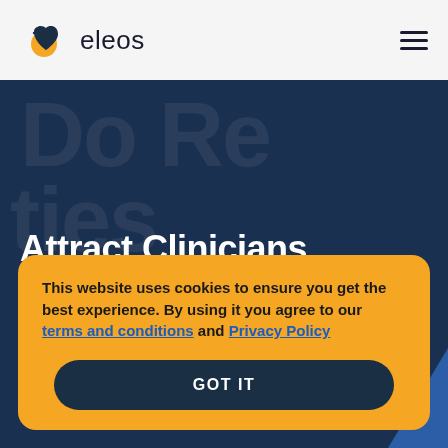eleos
Attract Clinicians. Demonstrate
This website uses cookies to ensure you get the best experience. By using it you agree to our terms and conditions and Privacy Policy
GOT IT